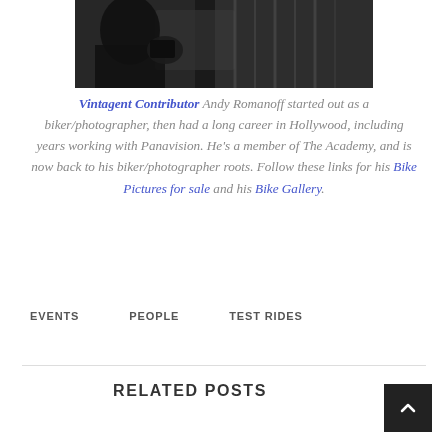[Figure (photo): Black and white photo of a person, partially cropped, showing upper body with patterned shirt]
Vintagent Contributor Andy Romanoff started out as a biker/photographer, then had a long career in Hollywood, including years working with Panavision. He's a member of The Academy, and is now back to his biker/photographer roots. Follow these links for his Bike Pictures for sale and his Bike Gallery.
EVENTS
PEOPLE
TEST RIDES
RELATED POSTS